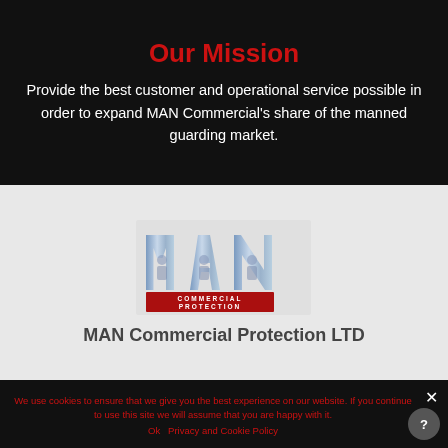Our Mission
Provide the best customer and operational service possible in order to expand MAN Commercial's share of the manned guarding market.
[Figure (logo): MAN Commercial Protection LTD logo with stylized MAN letters and silhouettes of security guards, red banner reading COMMERCIAL PROTECTION]
MAN Commercial Protection LTD
We use cookies to ensure that we give you the best experience on our website. If you continue to use this site we will assume that you are happy with it.
Ok   Privacy and Cookie Policy